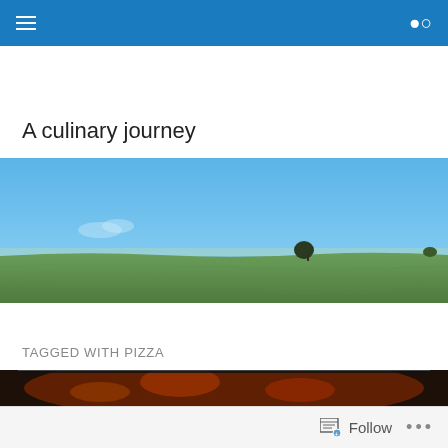Navigation bar with menu and search icons
A culinary journey
[Figure (photo): Wide panoramic landscape photo showing a green field under a clear blue sky with a single tree near the horizon]
TAGGED WITH PIZZA
[Figure (photo): Partial view of a pizza image at the bottom of the screen]
Follow   ...